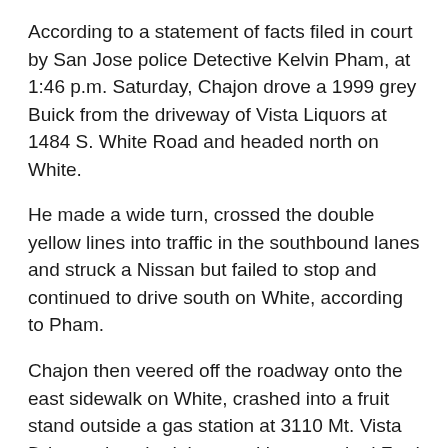According to a statement of facts filed in court by San Jose police Detective Kelvin Pham, at 1:46 p.m. Saturday, Chajon drove a 1999 grey Buick from the driveway of Vista Liquors at 1484 S. White Road and headed north on White.
He made a wide turn, crossed the double yellow lines into traffic in the southbound lanes and struck a Nissan but failed to stop and continued to drive south on White, according to Pham.
Chajon then veered off the roadway onto the east sidewalk on White, crashed into a fruit stand outside a gas station at 3110 Mt. Vista Drive and pushed the stand into a parked Ford van.
The impact into the stand knocked an adult male food vendor, according to the medical examiner, who determined the cause of death as blunt force trauma.